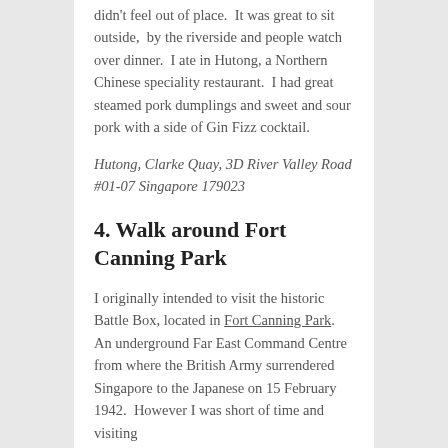didn't feel out of place.  It was great to sit outside,  by the riverside and people watch over dinner.  I ate in Hutong, a Northern Chinese speciality restaurant.  I had great steamed pork dumplings and sweet and sour pork with a side of Gin Fizz cocktail.
Hutong, Clarke Quay, 3D River Valley Road #01-07 Singapore 179023
4. Walk around Fort Canning Park
I originally intended to visit the historic Battle Box, located in Fort Canning Park.  An underground Far East Command Centre from where the British Army surrendered Singapore to the Japanese on 15 February 1942.  However I was short of time and visiting